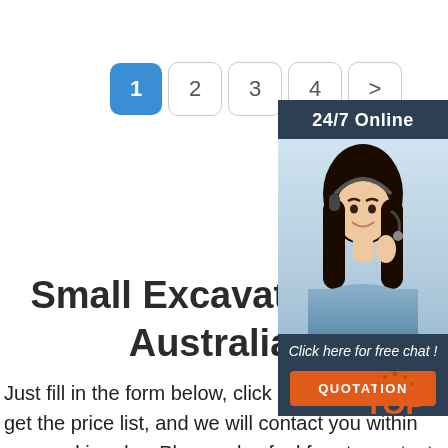[Figure (infographic): Pagination bar with buttons 1 (active/blue), 2, 3, 4, >]
[Figure (infographic): Side panel with '24/7 Online' header, photo of woman with headset, 'Click here for free chat!' text, orange QUOTATION button]
Small Excavator Mo… Australia
Just fill in the form below, click submit, you will get the price list, and we will contact you within one working day. Please also feel free to contact us via
[Figure (logo): TOP logo with orange text and dot decoration]